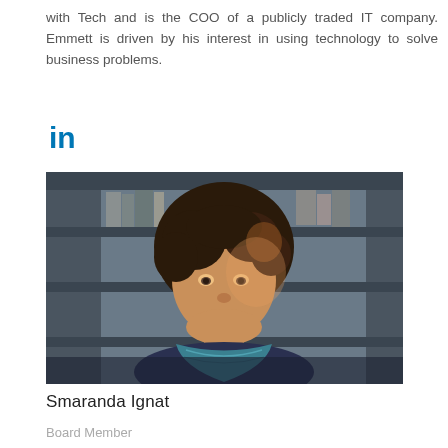with Tech and is the COO of a publicly traded IT company. Emmett is driven by his interest in using technology to solve business problems.
[Figure (logo): LinkedIn logo icon in blue]
[Figure (photo): Portrait photo of Smaranda Ignat, a woman with curly brown hair, wearing a blue and teal patterned scarf, seated in front of a bookshelf background]
Smaranda Ignat
Board Member